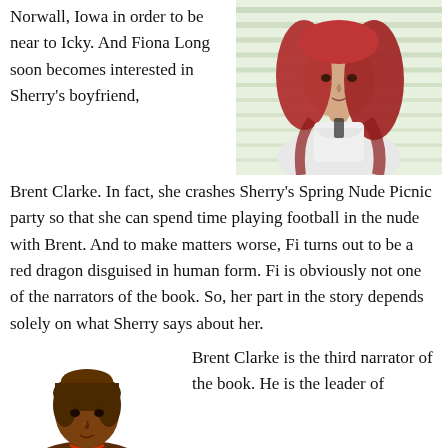Norwall, Iowa in order to be near to Icky. And Fiona Long soon becomes interested in Sherry's boyfriend,
[Figure (illustration): Colored pencil illustration of a woman with long red hair, wearing a white top, against a striped background.]
Brent Clarke. In fact, she crashes Sherry's Spring Nude Picnic party so that she can spend time playing football in the nude with Brent. And to make matters worse, Fi turns out to be a red dragon disguised in human form. Fi is obviously not one of the narrators of the book. So, her part in the story depends solely on what Sherry says about her.
[Figure (illustration): Illustration of a person with short brown hair and dark complexion, shown from shoulders up.]
Brent Clarke is the third narrator of the book. He is the leader of